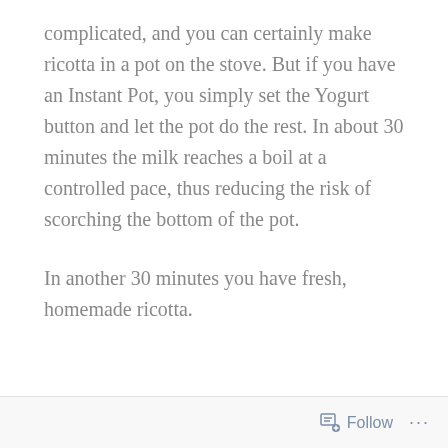complicated, and you can certainly make ricotta in a pot on the stove. But if you have an Instant Pot, you simply set the Yogurt button and let the pot do the rest. In about 30 minutes the milk reaches a boil at a controlled pace, thus reducing the risk of scorching the bottom of the pot.
In another 30 minutes you have fresh, homemade ricotta.
Follow ···